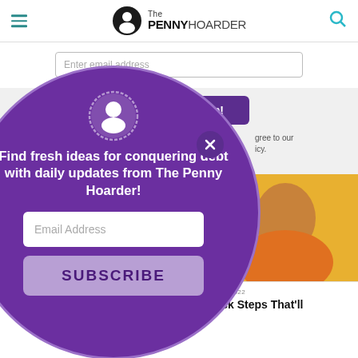The PENNY HOARDER
[Figure (screenshot): Background webpage showing email signup form with 'Enter email address' input field and purple 'Sign me up!' button, with text about agreeing to privacy policy. Below shows 'THE PENNY HOARDER FAVORITES' watermark text. Bottom section shows two article previews: 'If You Have More Than...' and 'AUGUST 19, 2022 / 10 Quick Steps That’ll'. A photo of a smiling woman is partially visible.]
[Figure (infographic): Purple circle modal popup with The Penny Hoarder person icon at top, close button (X) in upper right. Main text: 'Find fresh ideas for conquering debt with daily updates from The Penny Hoarder!' followed by Email Address input field and SUBSCRIBE button.]
Find fresh ideas for conquering debt with daily updates from The Penny Hoarder!
Email Address
SUBSCRIBE